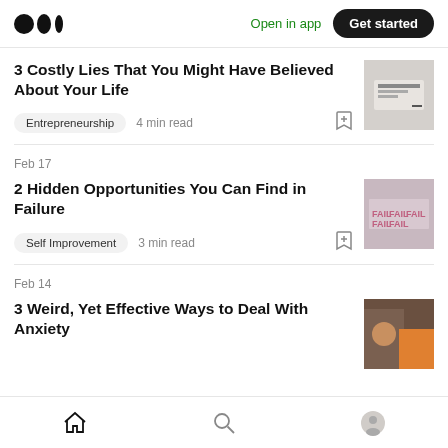Medium logo | Open in app | Get started
3 Costly Lies That You Might Have Believed About Your Life
Entrepreneurship  4 min read
Feb 17
2 Hidden Opportunities You Can Find in Failure
Self Improvement  3 min read
Feb 14
3 Weird, Yet Effective Ways to Deal With Anxiety
Home | Search | Profile